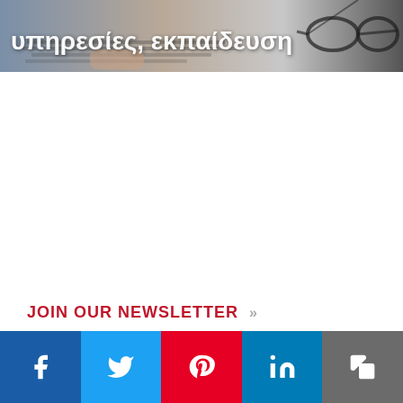[Figure (photo): Hero image showing hands typing on a keyboard with glasses nearby, overlaid with white Greek text: υπηρεσίες, εκπαίδευση]
JOIN OUR NEWSLETTER »
[Figure (infographic): Social sharing bar with five buttons: Facebook (blue), Twitter (light blue), Pinterest (red), LinkedIn (dark blue), Copy (grey)]